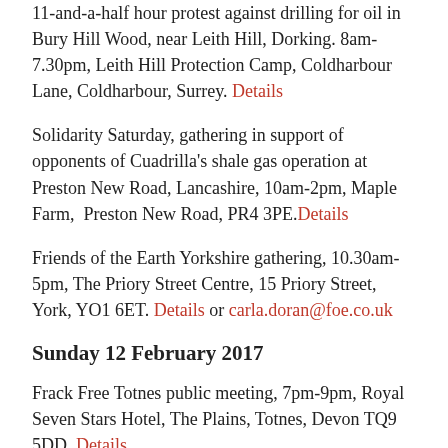11-and-a-half hour protest against drilling for oil in Bury Hill Wood, near Leith Hill, Dorking. 8am-7.30pm, Leith Hill Protection Camp, Coldharbour Lane, Coldharbour, Surrey. Details
Solidarity Saturday, gathering in support of opponents of Cuadrilla's shale gas operation at Preston New Road, Lancashire, 10am-2pm, Maple Farm, Preston New Road, PR4 3PE. Details
Friends of the Earth Yorkshire gathering, 10.30am-5pm, The Priory Street Centre, 15 Priory Street, York, YO1 6ET. Details or carla.doran@foe.co.uk
Sunday 12 February 2017
Frack Free Totnes public meeting, 7pm-9pm, Royal Seven Stars Hotel, The Plains, Totnes, Devon TQ9 5DD. Details